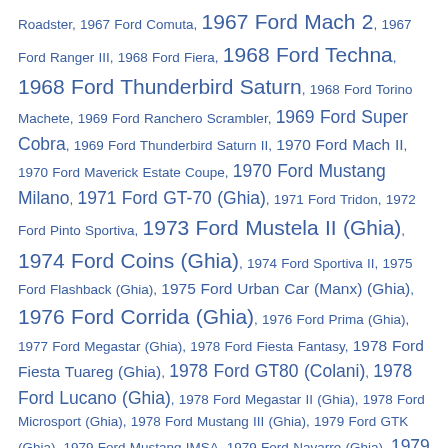Roadster, 1967 Ford Comuta, 1967 Ford Mach 2, 1967 Ford Ranger III, 1968 Ford Fiera, 1968 Ford Techna, 1968 Ford Thunderbird Saturn, 1968 Ford Torino Machete, 1969 Ford Ranchero Scrambler, 1969 Ford Super Cobra, 1969 Ford Thunderbird Saturn II, 1970 Ford Mach II, 1970 Ford Maverick Estate Coupe, 1970 Ford Mustang Milano, 1971 Ford GT-70 (Ghia), 1971 Ford Tridon, 1972 Ford Pinto Sportiva, 1973 Ford Mustela II (Ghia), 1974 Ford Coins (Ghia), 1974 Ford Sportiva II, 1975 Ford Flashback (Ghia), 1975 Ford Urban Car (Manx) (Ghia), 1976 Ford Corrida (Ghia), 1976 Ford Prima (Ghia), 1977 Ford Megastar (Ghia), 1978 Ford Fiesta Fantasy, 1978 Ford Fiesta Tuareg (Ghia), 1978 Ford GT80 (Colani), 1978 Ford Lucano (Ghia), 1978 Ford Megastar II (Ghia), 1978 Ford Microsport (Ghia), 1978 Ford Mustang III (Ghia), 1979 Ford GTK (Ghia), 1979 Ford Mustang IMSA, 1979 Ford Navarre (Ghia), 1979 Ford Probe I (Ghia), 1980 Ford Bronco Montana Lobo, 1980 Ford Granada Altair (Ghia), 1980 Ford